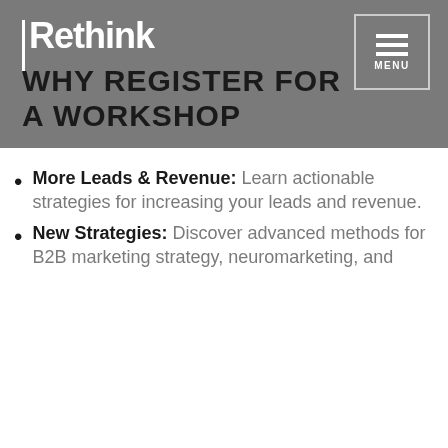Rethink
WHY REGISTER FOR A WORKSHOP
More Leads & Revenue: Learn actionable strategies for increasing your leads and revenue.
New Strategies: Discover advanced methods for B2B marketing strategy, neuromarketing, and